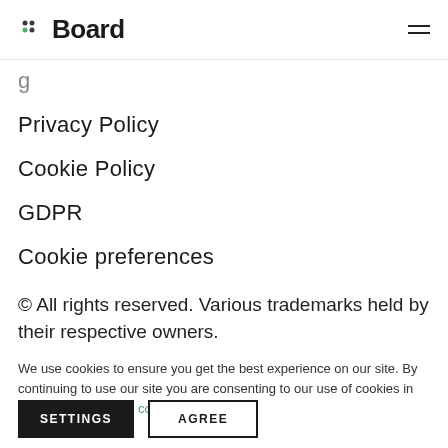[Figure (logo): Board logo with dot grid icon and 'Board' text wordmark]
Privacy Policy
Cookie Policy
GDPR
Cookie preferences
© All rights reserved. Various trademarks held by their respective owners.
We use cookies to ensure you get the best experience on our site. By continuing to use our site you are consenting to our use of cookies in accordance with our cookies policy.